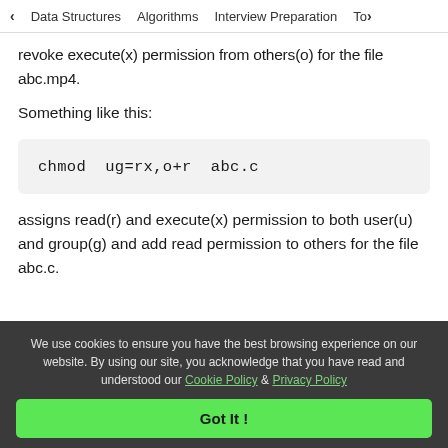< Data Structures   Algorithms   Interview Preparation   To>
revoke execute(x) permission from others(o) for the file abc.mp4.
Something like this:
chmod  ug=rx,o+r  abc.c
assigns read(r) and execute(x) permission to both user(u) and group(g) and add read permission to others for the file abc.c.
We use cookies to ensure you have the best browsing experience on our website. By using our site, you acknowledge that you have read and understood our Cookie Policy & Privacy Policy
Got It !